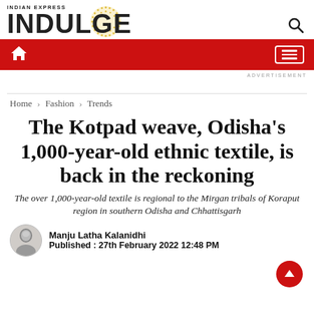INDIAN EXPRESS INDULGE
Home > Fashion > Trends
The Kotpad weave, Odisha's 1,000-year-old ethnic textile, is back in the reckoning
The over 1,000-year-old textile is regional to the Mirgan tribals of Koraput region in southern Odisha and Chhattisgarh
Manju Latha Kalanidhi
Published: 27th February 2022 12:48 PM